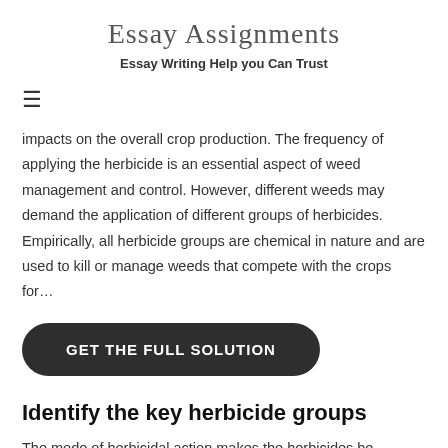Essay Assignments
Essay Writing Help you Can Trust
≡
impacts on the overall crop production. The frequency of applying the herbicide is an essential aspect of weed management and control. However, different weeds may demand the application of different groups of herbicides. Empirically, all herbicide groups are chemical in nature and are used to kill or manage weeds that compete with the crops for…
GET THE FULL SOLUTION
Identify the key herbicide groups
The mode of herbicidal action makes the herbicides be categorized into different groups that are initialized by alphabetical numbers. First